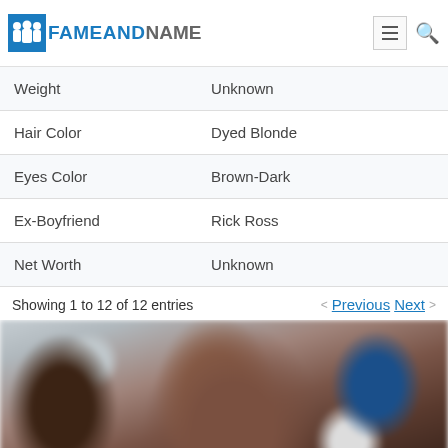FAMEANDNAME
| Weight | Unknown |
| Hair Color | Dyed Blonde |
| Eyes Color | Brown-Dark |
| Ex-Boyfriend | Rick Ross |
| Net Worth | Unknown |
Showing 1 to 12 of 12 entries
Previous  Next
[Figure (photo): Blurred photo of a person with brown hair, with other people visible in background]